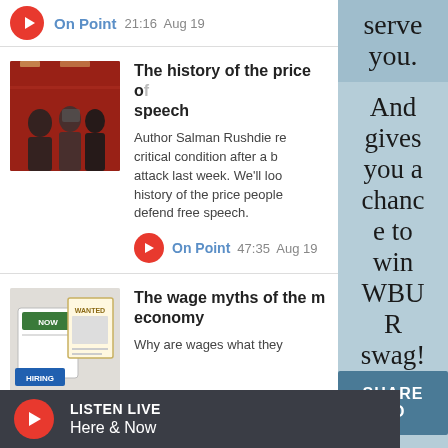[Figure (screenshot): WBUR radio app screenshot showing podcast listings]
On Point  21:16  Aug 19
The history of the price of free speech
Author Salman Rushdie remains in critical condition after a brutal attack last week. We'll look at the history of the price people pay to defend free speech.
On Point  47:35  Aug 19
The wage myths of the modern economy
Why are wages what they are? We'll talk about the myths that...
serve you. And gives you a chance to win WBUR swag!
SHARE YO
LISTEN LIVE
Here & Now